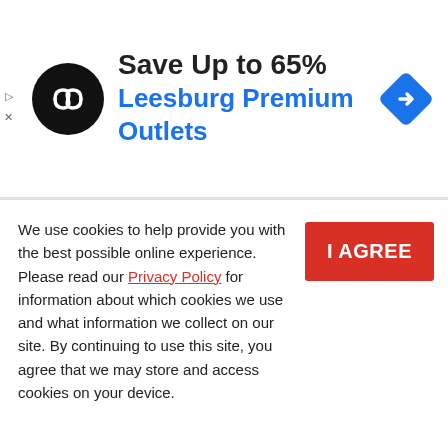[Figure (screenshot): Advertisement banner for Leesburg Premium Outlets with circular black logo, navigation/direction diamond icon, text 'Save Up to 65%' and 'Leesburg Premium Outlets' in blue]
Required fields are marked *
[Figure (screenshot): Comment form field with placeholder text 'Comment*' on a light gray background]
We use cookies to help provide you with the best possible online experience. Please read our Privacy Policy for information about which cookies we use and what information we collect on our site. By continuing to use this site, you agree that we may store and access cookies on your device.